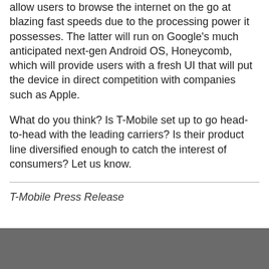allow users to browse the internet on the go at blazing fast speeds due to the processing power it possesses. The latter will run on Google's much anticipated next-gen Android OS, Honeycomb, which will provide users with a fresh UI that will put the device in direct competition with companies such as Apple.
What do you think? Is T-Mobile set up to go head-to-head with the leading carriers? Is their product line diversified enough to catch the interest of consumers? Let us know.
T-Mobile Press Release